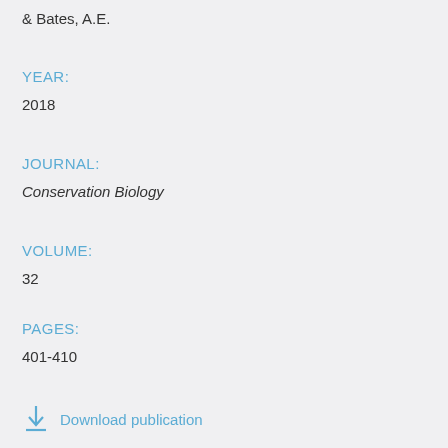& Bates, A.E.
YEAR:
2018
JOURNAL:
Conservation Biology
VOLUME:
32
PAGES:
401-410
Download publication